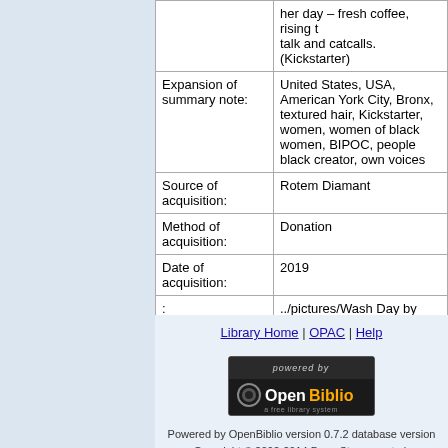| Field | Value |
| --- | --- |
|  | her day – fresh coffee, rising talk and catcalls. (Kickstarter) |
| Expansion of summary note: | United States, USA, American York City, Bronx, textured hair, Kickstarter, women, women of black women, BIPOC, people black creator, own voices |
| Source of acquisition: | Rotem Diamant |
| Method of acquisition: | Donation |
| Date of acquisition: | 2019 |
| : | ../pictures/Wash Day by Jamila and Robyn Smith.jpg |
| : | 14 |
Library Home | OPAC | Help
[Figure (logo): Powered by OpenBiblio - a free library system badge]
Powered by OpenBiblio version 0.7.2 database version Copyright © 2002-2014 Dave Stevens, et al. under the GNU General Public License